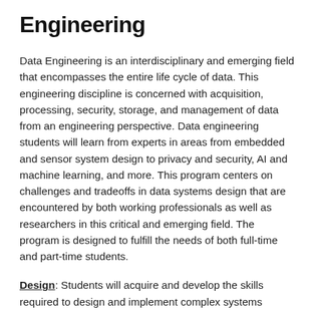Engineering
Data Engineering is an interdisciplinary and emerging field that encompasses the entire life cycle of data. This engineering discipline is concerned with acquisition, processing, security, storage, and management of data from an engineering perspective. Data engineering students will learn from experts in areas from embedded and sensor system design to privacy and security, AI and machine learning, and more. This program centers on challenges and tradeoffs in data systems design that are encountered by both working professionals as well as researchers in this critical and emerging field. The program is designed to fulfill the needs of both full-time and part-time students.
Design: Students will acquire and develop the skills required to design and implement complex systems